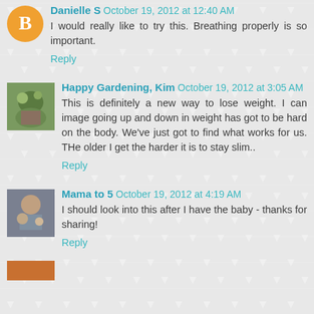Danielle S  October 19, 2012 at 12:40 AM
I would really like to try this. Breathing properly is so important.
Reply
Happy Gardening, Kim  October 19, 2012 at 3:05 AM
This is definitely a new way to lose weight. I can image going up and down in weight has got to be hard on the body. We've just got to find what works for us. THe older I get the harder it is to stay slim..
Reply
Mama to 5  October 19, 2012 at 4:19 AM
I should look into this after I have the baby - thanks for sharing!
Reply